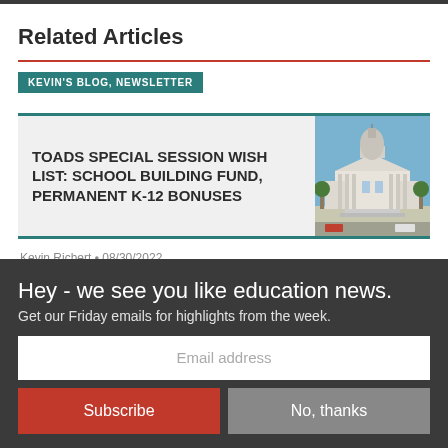Related Articles
KEVIN'S BLOG, NEWSLETTER
TOADS SPECIAL SESSION WISH LIST: SCHOOL BUILDING FUND, PERMANENT K-12 BONUSES
[Figure (photo): Photo of a state capitol building under blue sky]
Kevin Richert • 08/30/2022
Hey - we see you like education news.
Get our Friday emails for highlights from the week.
Email address
Subscribe
No, thanks